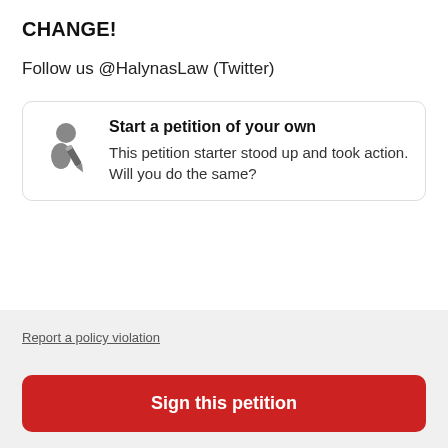CHANGE!
Follow us @HalynasLaw (Twitter)
[Figure (illustration): Icon of a person writing/signing a petition, gray silhouette with pencil]
Start a petition of your own
This petition starter stood up and took action. Will you do the same?
Report a policy violation
Sign this petition